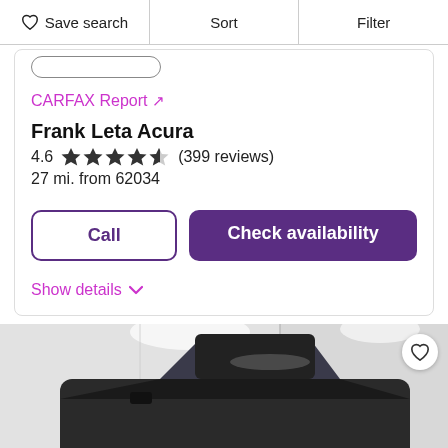♡ Save search   Sort   Filter
CARFAX Report ↗
Frank Leta Acura
4.6 ★★★★½ (399 reviews)
27 mi. from 62034
Call   Check availability
Show details ∨
[Figure (photo): Photo of a dark-colored SUV/car in a showroom or garage setting with bright overhead lighting, viewed from a front three-quarter angle. A circular heart/favorite button appears in the top right corner of the image.]